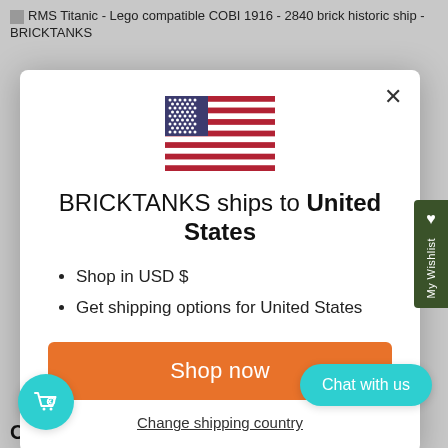RMS Titanic - Lego compatible COBI 1916 - 2840 brick historic ship - BRICKTANKS
[Figure (screenshot): Modal dialog showing US flag and shipping information for BRICKTANKS store]
BRICKTANKS ships to United States
Shop in USD $
Get shipping options for United States
Shop now
Change shipping country
My Wishlist
Chat with us
ORP Orzeł - Lego compatible